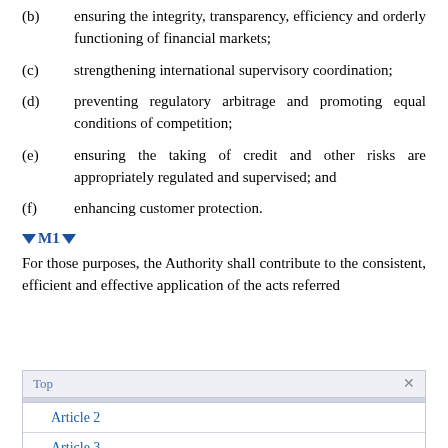(b) ensuring the integrity, transparency, efficiency and orderly functioning of financial markets;
(c) strengthening international supervisory coordination;
(d) preventing regulatory arbitrage and promoting equal conditions of competition;
(e) ensuring the taking of credit and other risks are appropriately regulated and supervised; and
(f) enhancing customer protection.
▼ M1 ▼
For those purposes, the Authority shall contribute to the consistent, efficient and effective application of the acts referred
| Top | × |
| --- | --- |
| Article 2 |  |
| Article 3 |  |
| Article 4 |  |